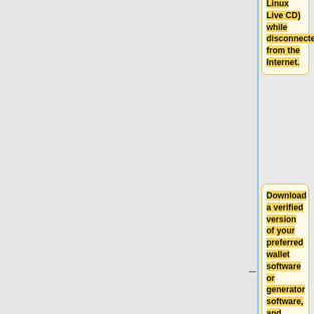Linux Live CD) while disconnected from the Internet.
Download a verified version of your preferred wallet software or generator software, and disconnect the computer from the internet.
Print your paper wallets or store them on external media (do not save them on the computer).